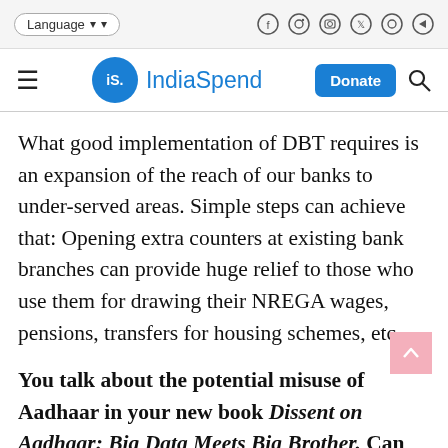Language | [social icons]
IndiaSpend | Donate | Search
What good implementation of DBT requires is an expansion of the reach of our banks to under-served areas. Simple steps can achieve that: Opening extra counters at existing bank branches can provide huge relief to those who use them for drawing their NREGA wages, pensions, transfers for housing schemes, etc.
You talk about the potential misuse of Aadhaar in your new book Dissent on Aadhaar: Big Data Meets Big Brother. Can you explain the misuse?